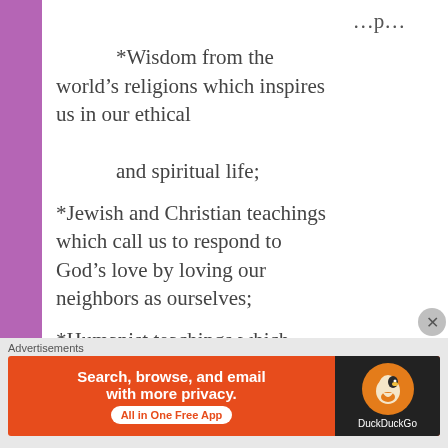*Wisdom from the world’s religions which inspires us in our ethical and spiritual life;
*Jewish and Christian teachings which call us to respond to God’s love by loving our neighbors as ourselves;
*Humanist teachings which counsel us to heed the
Advertisements
[Figure (screenshot): DuckDuckGo advertisement banner: orange background with text 'Search, browse, and email with more privacy. All in One Free App' and DuckDuckGo logo on dark background.]